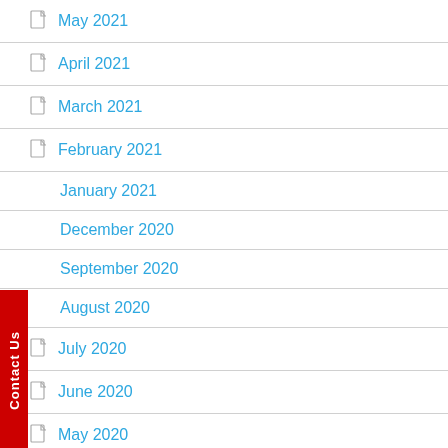May 2021
April 2021
March 2021
February 2021
January 2021
December 2020
September 2020
August 2020
July 2020
June 2020
May 2020
April 2020